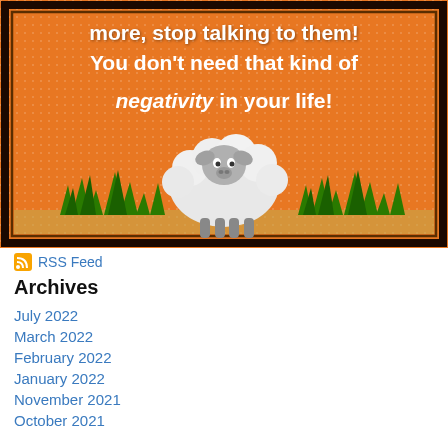[Figure (illustration): Orange dotted background card with white bold text reading 'more, stop talking to them! You don't need that kind of negativity in your life!' with a cartoon sheep standing in green grass at the bottom.]
RSS Feed
Archives
July 2022
March 2022
February 2022
January 2022
November 2021
October 2021